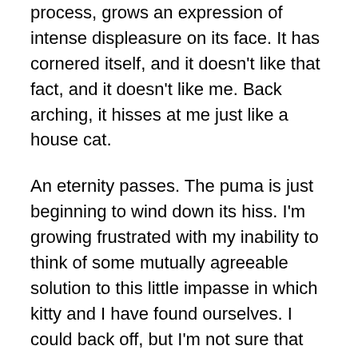process, grows an expression of intense displeasure on its face. It has cornered itself, and it doesn't like that fact, and it doesn't like me. Back arching, it hisses at me just like a house cat.
An eternity passes. The puma is just beginning to wind down its hiss. I'm growing frustrated with my inability to think of some mutually agreeable solution to this little impasse in which kitty and I have found ourselves. I could back off, but I'm not sure that wouldn't be taken as a sign of weakness, or of flight. With my brain temporarily out of service, I'd be hard-pressed not to accidentally break and run, just what puma is looking for. Something he understands. Prey runs.
But I can't just stand here and do nothing, because that obviously isn't getting us anywhere. Puma's neckhairs are increasingly standing on end, but then so are mine. He'd